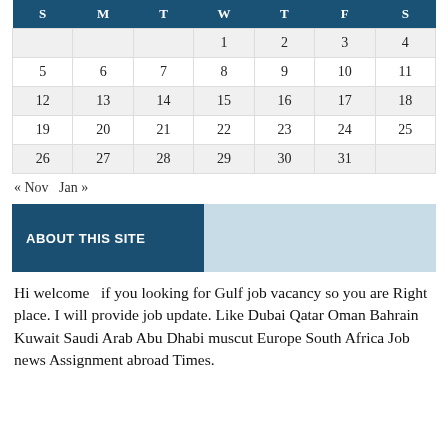| S | M | T | W | T | F | S |
| --- | --- | --- | --- | --- | --- | --- |
|  |  |  | 1 | 2 | 3 | 4 |
| 5 | 6 | 7 | 8 | 9 | 10 | 11 |
| 12 | 13 | 14 | 15 | 16 | 17 | 18 |
| 19 | 20 | 21 | 22 | 23 | 24 | 25 |
| 26 | 27 | 28 | 29 | 30 | 31 |  |
« Nov   Jan »
ABOUT THIS SITE
Hi welcome  if you looking for Gulf job vacancy so you are Right place. I will provide job update. Like Dubai Qatar Oman Bahrain Kuwait Saudi Arab Abu Dhabi muscut Europe South Africa Job news Assignment abroad Times.